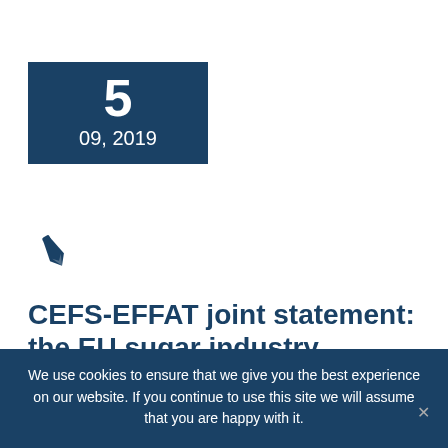5
09, 2019
[Figure (illustration): Pen/quill icon in dark teal color]
CEFS-EFFAT joint statement: the EU sugar industry matters!
September 5th, 2019
Presenting the conclusions of the High-Level Group on sugar at the working group meeting of the EU
We use cookies to ensure that we give you the best experience on our website. If you continue to use this site we will assume that you are happy with it.